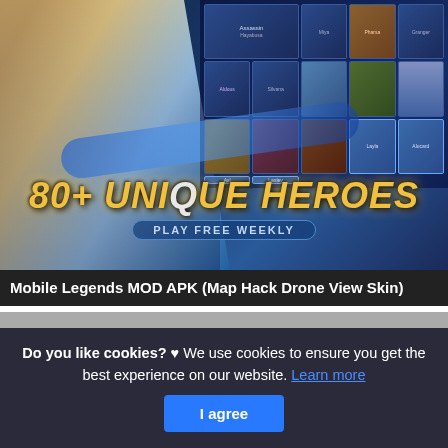[Figure (screenshot): Mobile Legends game screenshot showing '80+ UNIQUE HEROES - PLAY FREE WEEKLY' with hero selection grid and character artwork]
Mobile Legends MOD APK (Map Hack Drone View Skin)
This is actually a post or even graphic around the Mobile Legends MOD APK (Map Hack Drone View Skin) 1 6 58 7191, if you prefer much a lot extra relevant information around the short post or even picture feel free to click on or even go to the observing web link or even web link .
Do you like cookies? ♥ We use cookies to ensure you get the best experience on our website. Learn more
I agree